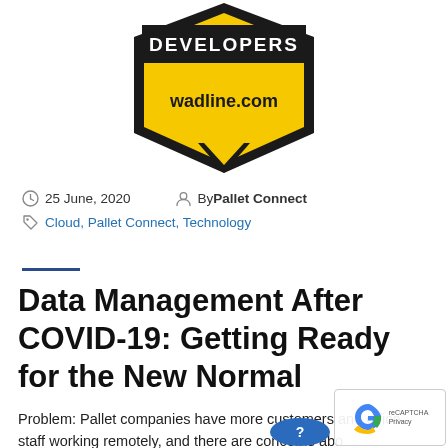[Figure (logo): Wadline.com developers badge — yellow hexagon/shield shape with black border, white 'DEVELOPERS' text on black banner at top, 'wadline.com' text below in black on yellow background]
25 June, 2020   By Pallet Connect
Cloud, Pallet Connect, Technology
Data Management After COVID-19: Getting Ready for the New Normal
Problem: Pallet companies have more customers and office staff working remotely, and there are concerns abo...